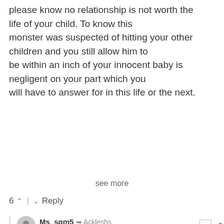please know no relationship is not worth the life of your child. To know this monster was suspected of hitting your other children and you still allow him to be within an inch of your innocent baby is negligent on your part which you will have to answer for in this life or the next.
see more
6 ^ | v Reply
Ms_sgm5 → Ackleshs
10 years ago
I' agree with you 100%. I just read the charging documents on that monster, because a human being(real man) would not do that to an innocent baby. I just pray that these young mothers wake up and protect what God have bless them with.I guess I must be old school because I would not have move in with anyone I have only known for two months. Before I